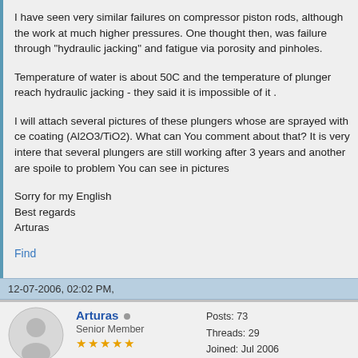I have seen very similar failures on compressor piston rods, although the work at much higher pressures. One thought then, was failure through "hydraulic jacking" and fatigue via porosity and pinholes.
Temperature of water is about 50C and the temperature of plunger reach hydraulic jacking - they said it is impossible of it .
I will attach several pictures of these plungers whose are sprayed with ce coating (Al2O3/TiO2). What can You comment about that? It is very intere that several plungers are still working after 3 years and another are spoile to problem You can see in pictures
Sorry for my English
Best regards
Arturas
Find
12-07-2006, 02:02 PM,
Arturas
Senior Member
Posts: 73
Threads: 29
Joined: Jul 2006
Reputation: 2